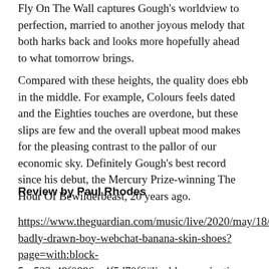Fly On The Wall captures Gough's worldview to perfection, married to another joyous melody that both harks back and looks more hopefully ahead to what tomorrow brings.
Compared with these heights, the quality does ebb in the middle. For example, Colours feels dated and the Eighties touches are overdone, but these slips are few and the overall upbeat mood makes for the pleasing contrast to the pallor of our economic sky. Definitely Gough's best record since his debut, the Mercury Prize-winning The Hour Of Bewilderbeast, 20 years ago.
Review by Paul Rhodes
https://www.theguardian.com/music/live/2020/may/18/badly-drawn-boy-webchat-banana-skin-shoes?page=with:block-5ec523a48f0886ce4f5d70f6#liveblog-navigation